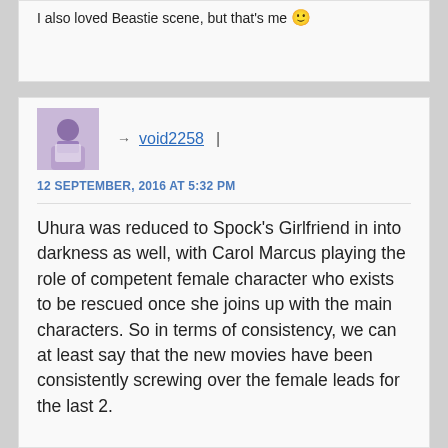I also loved Beastie scene, but that's me 🙂
→ void2258 |
12 SEPTEMBER, 2016 AT 5:32 PM
Uhura was reduced to Spock's Girlfriend in into darkness as well, with Carol Marcus playing the role of competent female character who exists to be rescued once she joins up with the main characters. So in terms of consistency, we can at least say that the new movies have been consistently screwing over the female leads for the last 2.